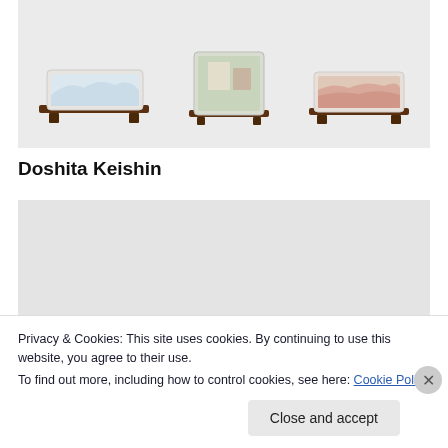[Figure (photo): Three ceramic bonsai pots on wooden stands against a light grey background. Left pot is rectangular with blue landscape painting, center pot is square with mixed decorative patterns, right pot is rectangular with reddish-brown texture.]
Doshita Keishin
[Figure (photo): Partial view of a single round shallow ceramic bowl/pot on a light grey background, partially obscured by cookie consent banner.]
Privacy & Cookies: This site uses cookies. By continuing to use this website, you agree to their use.
To find out more, including how to control cookies, see here: Cookie Policy